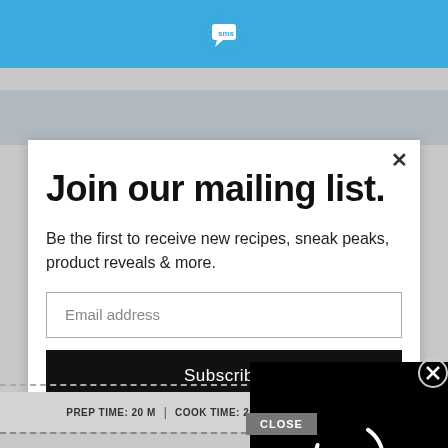SMS logo header bar
Join our mailing list.
Be the first to receive new recipes, sneak peaks, product reveals & more.
Email address
Subscribe
CLOSE
PREP TIME: 20 M | COOK TIME: 25 M | TOTAL TIME: 45 M